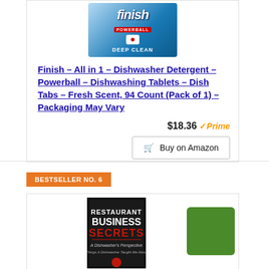[Figure (photo): Finish Powerball Deep Clean dishwasher detergent tablets product image, blue box]
Finish - All in 1 - Dishwasher Detergent - Powerball - Dishwashing Tablets - Dish Tabs - Fresh Scent, 94 Count (Pack of 1) - Packaging May Vary
$18.36 Prime
Buy on Amazon
BESTSELLER NO. 6
[Figure (photo): Restaurant Business Secrets - A Dishwasher's Perspective book cover]